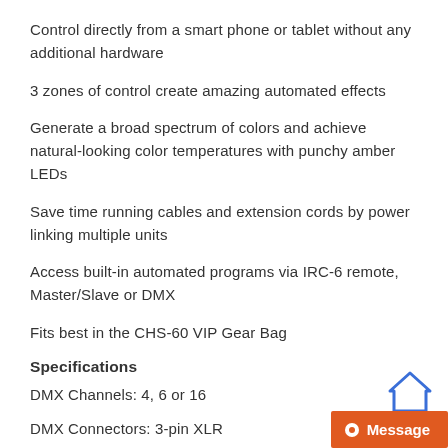Control directly from a smart phone or tablet without any additional hardware
3 zones of control create amazing automated effects
Generate a broad spectrum of colors and achieve natural-looking color temperatures with punchy amber LEDs
Save time running cables and extension cords by power linking multiple units
Access built-in automated programs via IRC-6 remote, Master/Slave or DMX
Fits best in the CHS-60 VIP Gear Bag
Specifications
DMX Channels: 4, 6 or 16
DMX Connectors: 3-pin XLR
Max Unobstructed Distance: 150 ft (45.7 m)